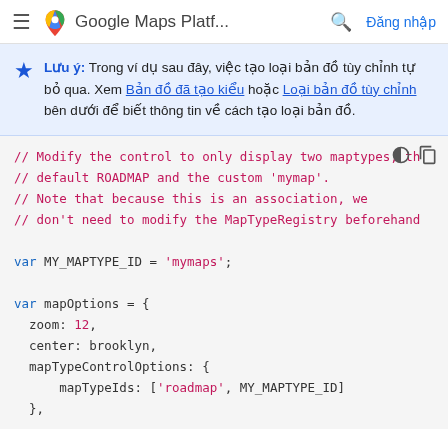Google Maps Platf...  Đăng nhập
Lưu ý: Trong ví dụ sau đây, việc tạo loại bản đồ tùy chỉnh tự bỏ qua. Xem Bản đồ đã tạo kiểu hoặc Loại bản đồ tùy chỉnh bên dưới để biết thông tin về cách tạo loại bản đồ.
[Figure (screenshot): Code block showing JavaScript for modifying map controls. Comments explain modifying control to display two maptypes: default ROADMAP and custom 'mymap'. Code declares MY_MAPTYPE_ID = 'mymaps' and mapOptions object with zoom: 12, center: brooklyn, mapTypeControlOptions: { mapTypeIds: ['roadmap', MY_MAPTYPE_ID] },]